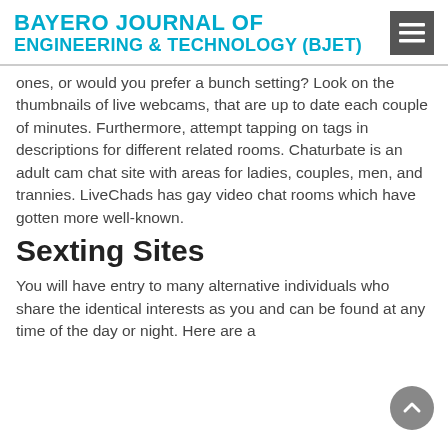BAYERO JOURNAL OF ENGINEERING & TECHNOLOGY (BJET)
ones, or would you prefer a bunch setting? Look on the thumbnails of live webcams, that are up to date each couple of minutes. Furthermore, attempt tapping on tags in descriptions for different related rooms. Chaturbate is an adult cam chat site with areas for ladies, couples, men, and trannies. LiveChads has gay video chat rooms which have gotten more well-known.
Sexting Sites
You will have entry to many alternative individuals who share the identical interests as you and can be found at any time of the day or night. Here are a